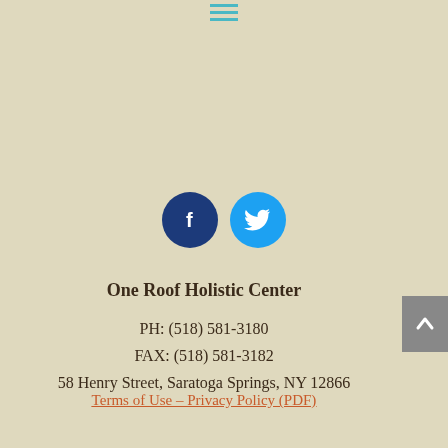[Figure (other): Hamburger menu icon with three horizontal teal lines]
[Figure (other): Social media icons: dark blue Facebook circle with 'f' and light blue Twitter circle with bird]
One Roof Holistic Center
PH: (518) 581-3180
FAX: (518) 581-3182
58 Henry Street, Saratoga Springs, NY 12866
Terms of Use – Privacy Policy (PDF)
[Figure (other): Back to top button (grey rectangle with upward chevron arrow)]